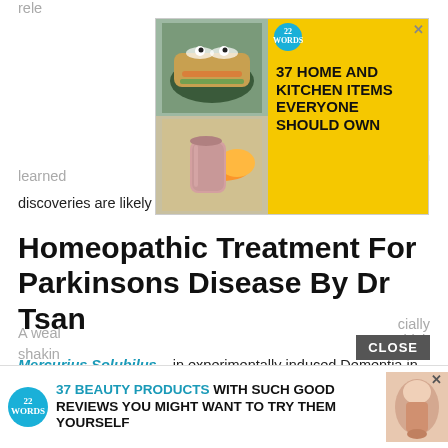rele…
[Figure (screenshot): Advertisement banner: '37 HOME AND KITCHEN ITEMS EVERYONE SHOULD OWN' with food/kitchen images and 22 Words badge]
Many d… been learned…
discoveries are likely to come.
Homeopathic Treatment For Parkinsons Disease By Dr Tsan
Mercurius Solubilus – in experimentally induced Dementia in rats, this homeopathic remedy progresses cerebral blood flow and memory. Mercurius is the most common Homoeopathic Treatment forParkinson's disease.
A weal… cially shakin… hich
[Figure (screenshot): Advertisement banner: '37 BEAUTY PRODUCTS WITH SUCH GOOD REVIEWS YOU MIGHT WANT TO TRY THEM YOURSELF' with 22 Words badge and product image]
CLOSE